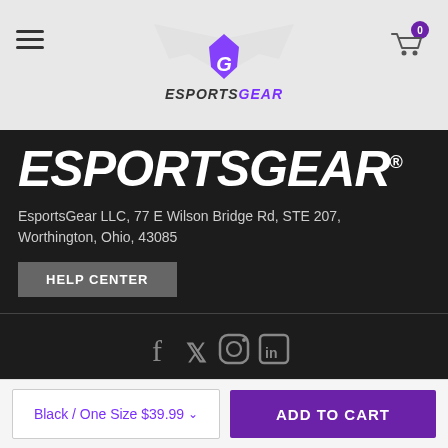[Figure (logo): EsportsGear logo with white wings and purple G symbol on light gray header background]
ESPORTSGEAR®
EsportsGear LLC, 77 E Wilson Bridge Rd, STE 207, Worthington, Ohio, 43085
HELP CENTER
[Figure (other): Social media icons: Facebook, Twitter, Instagram, LinkedIn]
© 2022 ESPORTSGEAR LLC.
Black / One Size $39.99
ADD TO CART